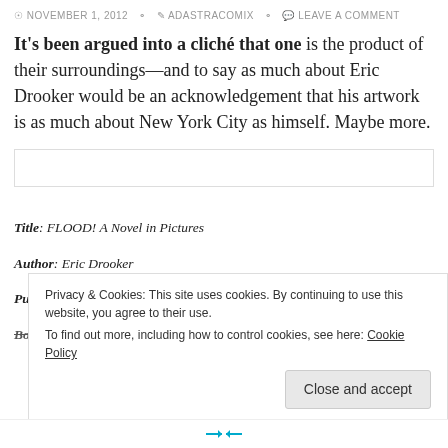⊙ NOVEMBER 1, 2012  ✎ ADASTRACOMIX  ✉ LEAVE A COMMENT
It's been argued into a cliché that one is the product of their surroundings—and to say as much about Eric Drooker would be an acknowledgement that his artwork is as much about New York City as himself. Maybe more.
Title: FLOOD! A Novel in Pictures
Author: Eric Drooker
Published: 2001, by Dark Horse Comics, Inc.
Bought this Copy: @ Hairy Tarantula Comics
Privacy & Cookies: This site uses cookies. By continuing to use this website, you agree to their use.
To find out more, including how to control cookies, see here: Cookie Policy
Close and accept